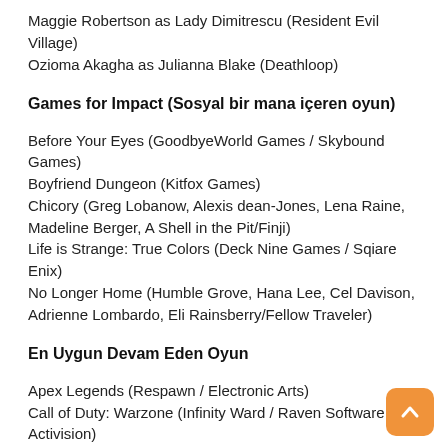Maggie Robertson as Lady Dimitrescu (Resident Evil Village)
Ozioma Akagha as Julianna Blake (Deathloop)
Games for Impact (Sosyal bir mana içeren oyun)
Before Your Eyes (GoodbyeWorld Games / Skybound Games)
Boyfriend Dungeon (Kitfox Games)
Chicory (Greg Lobanow, Alexis dean-Jones, Lena Raine, Madeline Berger, A Shell in the Pit/Finji)
Life is Strange: True Colors (Deck Nine Games / Sqiare Enix)
No Longer Home (Humble Grove, Hana Lee, Cel Davison, Adrienne Lombardo, Eli Rainsberry/Fellow Traveler)
En Uygun Devam Eden Oyun
Apex Legends (Respawn / Electronic Arts)
Call of Duty: Warzone (Infinity Ward / Raven Software / Activision)
Final Fantasy XIV Online (Square Enix)
Fortnite (Epic Games)
Genshin Impact (miHoYo)